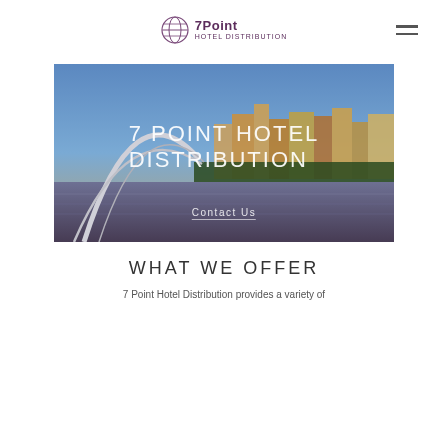7Point Hotel Distribution
[Figure (photo): Hero image of a city skyline with a modern pedestrian bridge in the foreground at dusk, overlaid with text '7 POINT HOTEL DISTRIBUTION' and a 'Contact Us' link]
WHAT WE OFFER
7 Point Hotel Distribution provides a variety of